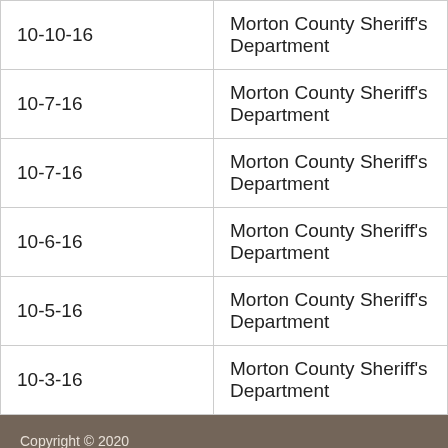| 10-10-16 | Morton County Sheriff's Department |
| 10-7-16 | Morton County Sheriff's Department |
| 10-7-16 | Morton County Sheriff's Department |
| 10-6-16 | Morton County Sheriff's Department |
| 10-5-16 | Morton County Sheriff's Department |
| 10-3-16 | Morton County Sheriff's Department |
Copyright © 2020
Disclaimer | Privacy Policy | Adobe Reader | About NDResponse | Accessibility | Archive | Contact
Feedback (+)